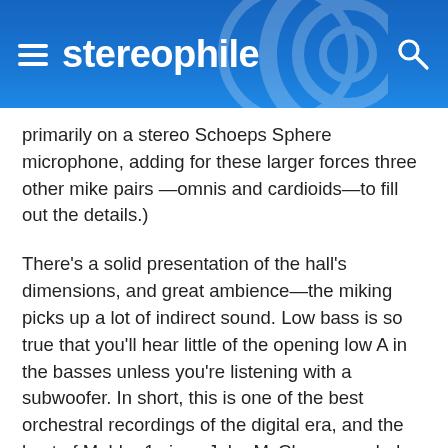stereophile
primarily on a stereo Schoeps Sphere microphone, adding for these larger forces three other mike pairs —omnis and cardioids—to fill out the details.)
There's a solid presentation of the hall's dimensions, and great ambience—the miking picks up a lot of indirect sound. Low bass is so true that you'll hear little of the opening low A in the basses unless you're listening with a subwoofer. In short, this is one of the best orchestral recordings of the digital era, and the best of Mahler 1 since John McClure recorded Bruno Walter for Columbia in 1961.
All of this would merely confirm Holt's Law if Judd's